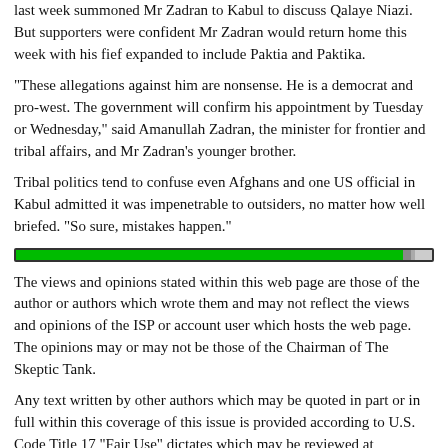last week summoned Mr Zadran to Kabul to discuss Qalaye Niazi. But supporters were confident Mr Zadran would return home this week with his fief expanded to include Paktia and Paktika.
"These allegations against him are nonsense. He is a democrat and pro-west. The government will confirm his appointment by Tuesday or Wednesday," said Amanullah Zadran, the minister for frontier and tribal affairs, and Mr Zadran's younger brother.
Tribal politics tend to confuse even Afghans and one US official in Kabul admitted it was impenetrable to outsiders, no matter how well briefed. "So sure, mistakes happen."
[Figure (other): Green horizontal divider bar]
The views and opinions stated within this web page are those of the author or authors which wrote them and may not reflect the views and opinions of the ISP or account user which hosts the web page. The opinions may or may not be those of the Chairman of The Skeptic Tank.
Any text written by other authors which may be quoted in part or in full within this coverage of this issue is provided according to U.S. Code Title 17 "Fair Use" dictates which may be reviewed at http://www4.law.cornell.edu/uscode/17/107.html If you're an author of an article and do not wish to allow it to be mirrored or